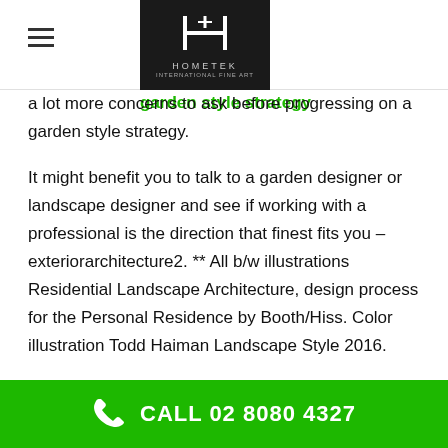HOMETEK logo header with hamburger menu
a lot more concerns to ask before progressing on a garden style strategy.
It might benefit you to talk to a garden designer or landscape designer and see if working with a professional is the direction that finest fits you – exteriorarchitecture2. ** All b/w illustrations Residential Landscape Architecture, design process for the Personal Residence by Booth/Hiss. Color illustration Todd Haiman Landscape Style 2016.
As a designer, I have actually become rather proficient at this for many years so prior to you go charging into your next on-site assessment, here is my step-by-step
CALL 02 8080 4327